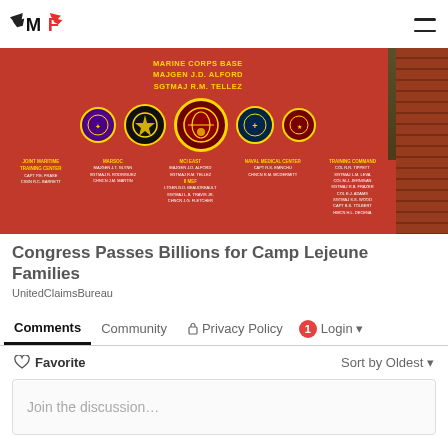MF logo and hamburger menu
[Figure (photo): Red Marine Corps Base sign at Camp Lejeune with military unit seals/badges and text including MARINE CORPS BASE, MAJGEN J.D. ALFORD, SGTMAJ R.M. TELLEZ, and various unit names. A brick pillar is visible on the right, with trees in the background.]
Congress Passes Billions for Camp Lejeune Families
UnitedClaimsBureau
Comments   Community   Privacy Policy   Login
Favorite   Sort by Oldest
Join the discussion...